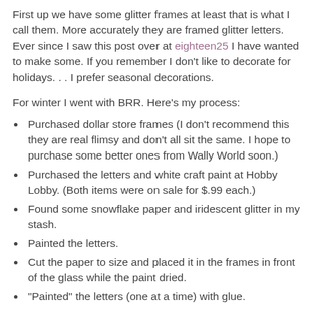First up we have some glitter frames at least that is what I call them. More accurately they are framed glitter letters. Ever since I saw this post over at eighteen25 I have wanted to make some. If you remember I don't like to decorate for holidays. . . I prefer seasonal decorations.
For winter I went with BRR. Here's my process:
Purchased dollar store frames (I don't recommend this they are real flimsy and don't all sit the same. I hope to purchase some better ones from Wally World soon.)
Purchased the letters and white craft paint at Hobby Lobby. (Both items were on sale for $.99 each.)
Found some snowflake paper and iridescent glitter in my stash.
Painted the letters.
Cut the paper to size and placed it in the frames in front of the glass while the paint dried.
"Painted" the letters (one at a time) with glue.